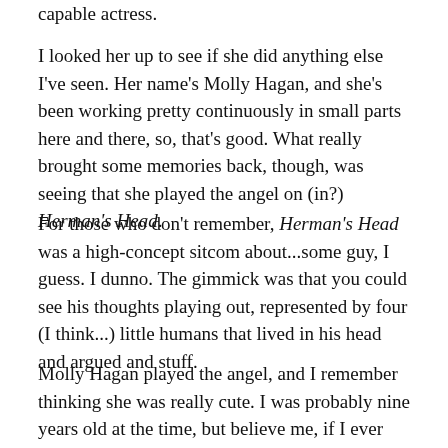capable actress.
I looked her up to see if she did anything else I've seen. Her name's Molly Hagan, and she's been working pretty continuously in small parts here and there, so, that's good. What really brought some memories back, though, was seeing that she played the angel on (in?) Herman's Head.
For those who don't remember, Herman's Head was a high-concept sitcom about...some guy, I guess. I dunno. The gimmick was that you could see his thoughts playing out, represented by four (I think...) little humans that lived in his head and argued and stuff.
Molly Hagan played the angel, and I remember thinking she was really cute. I was probably nine years old at the time, but believe me, if I ever met